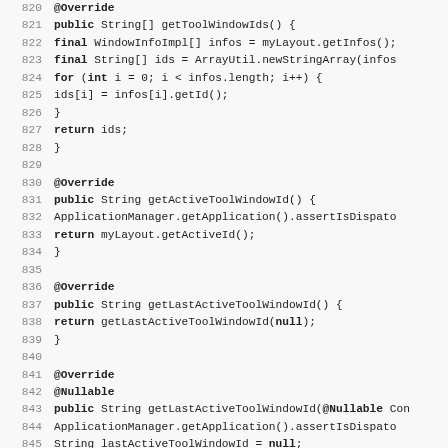[Figure (screenshot): Java source code lines 820-851 showing methods getToolWindowIds(), getActiveToolWindowId(), getLastActiveToolWindowId(), and beginning of overloaded getLastActiveToolWindowId(@Nullable) with line numbers on the left.]